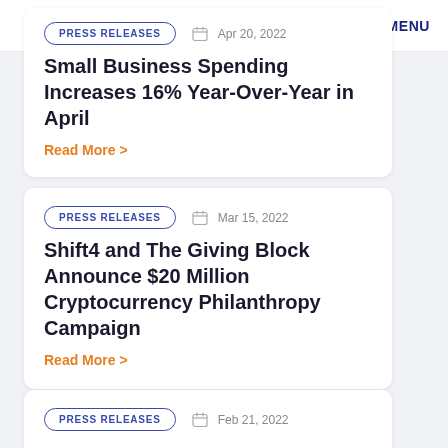MENU
Small Business Spending Increases 16% Year-Over-Year in April
Read More >
PRESS RELEASES   Mar 15, 2022
Shift4 and The Giving Block Announce $20 Million Cryptocurrency Philanthropy Campaign
Read More >
PRESS RELEASES   Feb 21, 2022